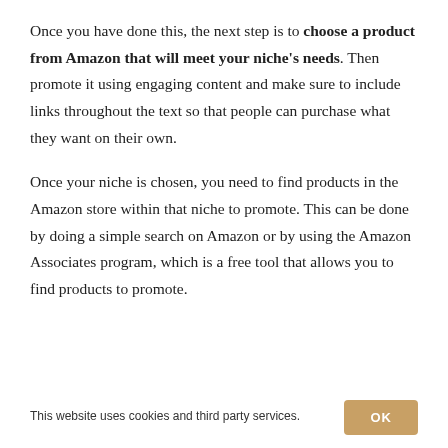Once you have done this, the next step is to choose a product from Amazon that will meet your niche's needs. Then promote it using engaging content and make sure to include links throughout the text so that people can purchase what they want on their own.
Once your niche is chosen, you need to find products in the Amazon store within that niche to promote. This can be done by doing a simple search on Amazon or by using the Amazon Associates program, which is a free tool that allows you to find products to promote.
This website uses cookies and third party services.